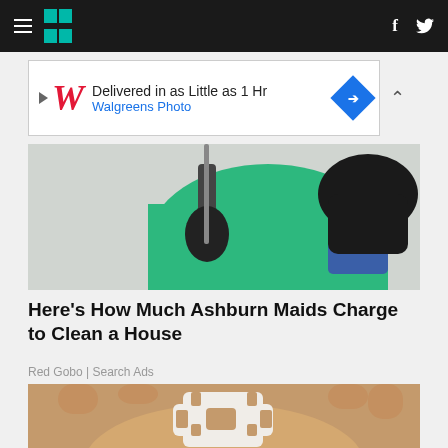Huffington Post navigation bar with hamburger menu, logo, Facebook and Twitter icons
[Figure (other): Walgreens Photo advertisement banner: Delivered in as Little as 1 Hr, Walgreens Photo]
[Figure (photo): Photo of a maid in green scrubs wearing black gloves holding a mop handle]
Here's How Much Ashburn Maids Charge to Clean a House
Red Gobo | Search Ads
[Figure (photo): Close-up photo of a hand holding a small white plastic piece shaped like a puzzle or token]